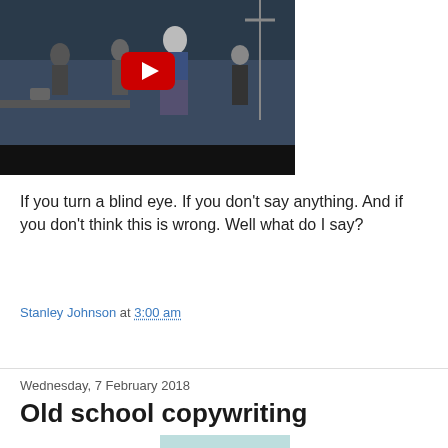[Figure (screenshot): YouTube video thumbnail showing 'The Photographer' with people in a studio setting and a red YouTube play button overlay]
If you turn a blind eye. If you don't say anything. And if you don't think this is wrong. Well what do I say?
Stanley Johnson at 3:00 am
Share
Wednesday, 7 February 2018
Old school copywriting